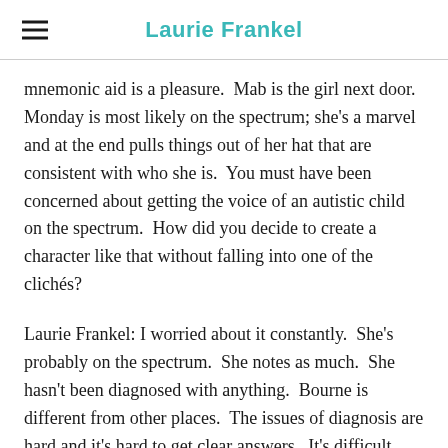Laurie Frankel
mnemonic aid is a pleasure.  Mab is the girl next door.  Monday is most likely on the spectrum; she's a marvel and at the end pulls things out of her hat that are consistent with who she is.  You must have been concerned about getting the voice of an autistic child on the spectrum.  How did you decide to create a character like that without falling into one of the clichés?
Laurie Frankel: I worried about it constantly.  She's probably on the spectrum.  She notes as much.  She hasn't been diagnosed with anything.  Bourne is different from other places.  The issues of diagnosis are hard and it's hard to get clear answers.  It's difficult